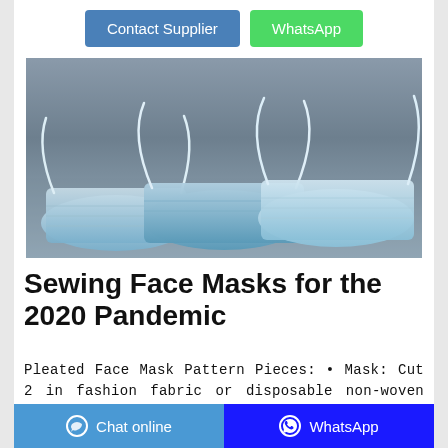Contact Supplier
WhatsApp
[Figure (photo): Several light blue pleated disposable face masks stacked together on a grey metallic surface, viewed from the front showing elastic ear loops.]
Sewing Face Masks for the 2020 Pandemic
Pleated Face Mask Pattern Pieces: • Mask: Cut 2 in fashion fabric or disposable non-woven fabric • Bias binding • Purchased or self made ties or narrow elastic Assemble the Face Mask 1. With RIGHT sides together, stitch the two face mask
Chat online
WhatsApp